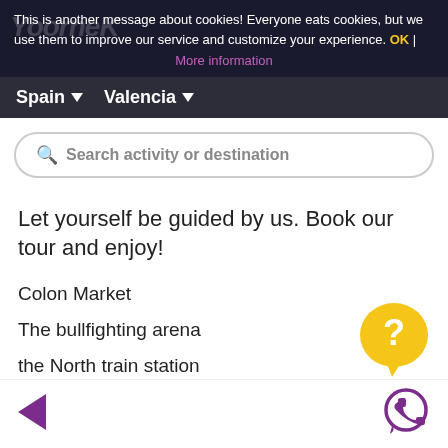This is another message about cookies! Everyone eats cookies, but we use them to improve our service and customize your experience. OK | More information
Spain ▾  Valencia ▾
🔍 Search activity or destination
Let yourself be guided by us. Book our tour and enjoy!
Colon Market
The bullfighting arena
the North train station
[Figure (illustration): Yellow speech bubble with question mark (help/chat widget)]
[Figure (illustration): Purple phone/WhatsApp icon in bottom right corner]
[Figure (illustration): Purple back arrow in bottom left corner]